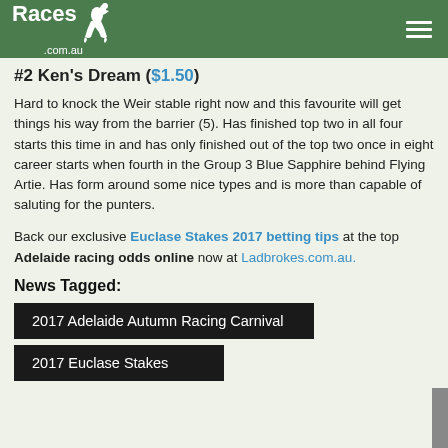Races .com.au
#2 Ken's Dream ($1.50)
Hard to knock the Weir stable right now and this favourite will get things his way from the barrier (5). Has finished top two in all four starts this time in and has only finished out of the top two once in eight career starts when fourth in the Group 3 Blue Sapphire behind Flying Artie. Has form around some nice types and is more than capable of saluting for the punters.
Back our exclusive Euclase Stakes 2017 betting tips at the top Adelaide racing odds online now at Ladbrokes.com.au.
News Tagged:
2017 Adelaide Autumn Racing Carnival
2017 Euclase Stakes